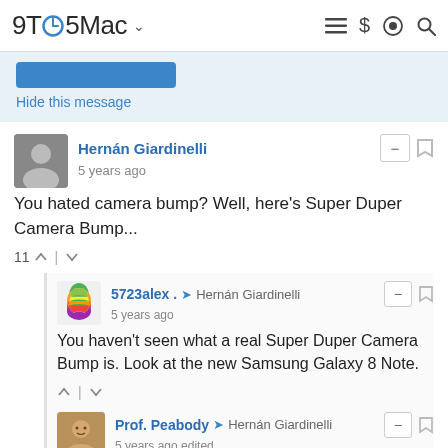9TO5Mac
Hide this message
Hernán Giardinelli
5 years ago
You hated camera bump? Well, here's Super Duper Camera Bump...
11
5723alex . → Hernán Giardinelli
5 years ago
You haven't seen what a real Super Duper Camera Bump is. Look at the new Samsung Galaxy 8 Note.
Prof. Peabody → Hernán Giardinelli
5 years ago edited
I wonder how large the camera bump will have to get, before Apple starts actually reporting them on their website in the specs? Last year they even changed their